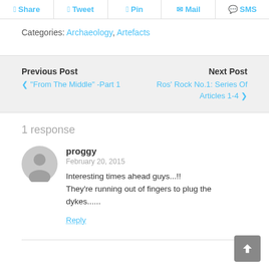Share | Tweet | Pin | Mail | SMS
Categories: Archaeology, Artefacts
Previous Post
< "From The Middle" -Part 1
Next Post
Ros' Rock No.1: Series Of Articles 1-4 >
1 response
proggy
February 20, 2015
Interesting times ahead guys...!!
They're running out of fingers to plug the dykes......
Reply